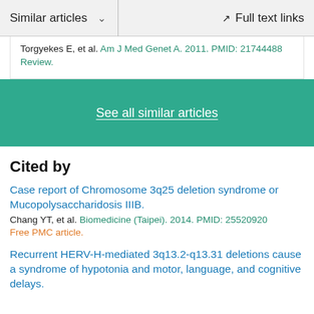Similar articles   ∨     Full text links
Torgyekes E, et al. Am J Med Genet A. 2011. PMID: 21744488
Review.
See all similar articles
Cited by
Case report of Chromosome 3q25 deletion syndrome or Mucopolysaccharidosis IIIB.
Chang YT, et al. Biomedicine (Taipei). 2014. PMID: 25520920
Free PMC article.
Recurrent HERV-H-mediated 3q13.2-q13.31 deletions cause a syndrome of hypotonia and motor, language, and cognitive delays.